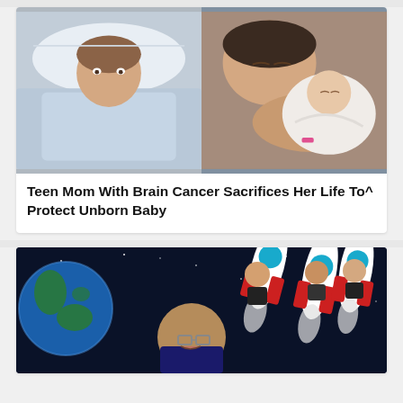[Figure (photo): Two side-by-side photos: left shows a young woman lying in a hospital bed in a patient gown; right shows a woman cradling a newborn baby wrapped in white.]
Teen Mom With Brain Cancer Sacrifices Her Life To^ Protect Unborn Baby
[Figure (photo): A humorous composite image with a space background showing Earth, and figures of well-known billionaires (resembling Bill Gates, Jeff Bezos, another bald man, and Richard Branson) riding cartoon rockets.]